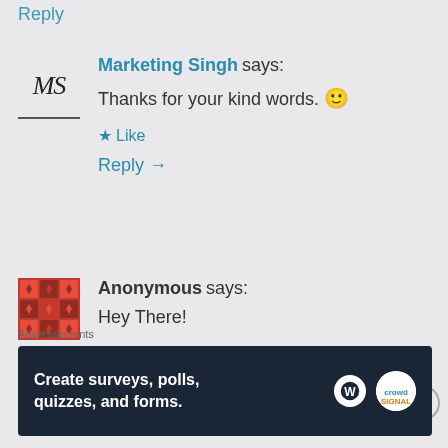Reply
Marketing Singh says: Thanks for your kind words. 🙂
★ Like
Reply →
Anonymous says: Hey There!
I found your blog using msn. This is a
Advertisements
[Figure (screenshot): Advertisement banner: dark background with text 'Create surveys, polls, quizzes, and forms.' with WordPress and CrowdSignal logos]